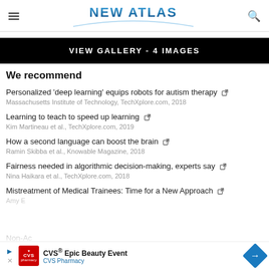NEW ATLAS
[Figure (other): VIEW GALLERY - 4 IMAGES banner]
We recommend
Personalized 'deep learning' equips robots for autism therapy — Massachusetts Institute of Technology, TechXplore.com, 2018
Learning to teach to speed up learning — Kim Martineau et al., TechXplore.com, 2019
How a second language can boost the brain — Ramin Skibba et al., Knowable Magazine, 2018
Fairness needed in algorithmic decision-making, experts say — Nina Haikara et al., TechXplore.com, 2018
Mistreatment of Medical Trainees: Time for a New Approach — Amy E...
Non-Ac...
[Figure (other): CVS Epic Beauty Event advertisement banner]